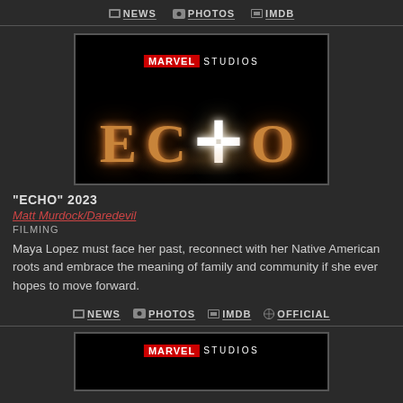NEWS  PHOTOS  IMDB
[Figure (photo): Marvel Studios ECHO title card / poster on black background with golden metallic lettering]
"ECHO" 2023
Matt Murdock/Daredevil
FILMING
Maya Lopez must face her past, reconnect with her Native American roots and embrace the meaning of family and community if she ever hopes to move forward.
NEWS  PHOTOS  IMDB  OFFICIAL
[Figure (photo): Marvel Studios logo on black background — bottom partial poster]